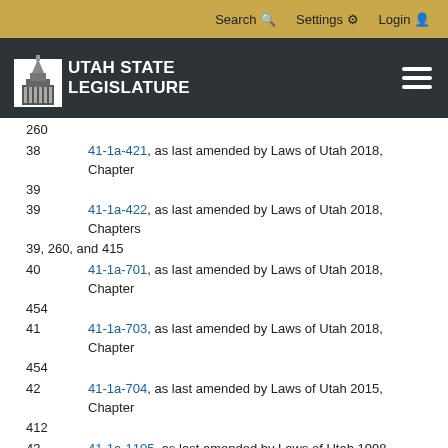Search  Settings  Login
UTAH STATE LEGISLATURE
38    41-1a-421, as last amended by Laws of Utah 2018, Chapter 39
39    41-1a-422, as last amended by Laws of Utah 2018, Chapters 39, 260, and 415
40    41-1a-701, as last amended by Laws of Utah 2018, Chapter 454
41    41-1a-703, as last amended by Laws of Utah 2018, Chapter 454
42    41-1a-704, as last amended by Laws of Utah 2015, Chapter 412
43    41-1a-1105, as last amended by Laws of Utah 1998, Chapter 281
44    41-1a-1211, as last amended by Laws of Utah 2015, Chapter 119
45    41-3-105, as last amended by Laws of Utah 2018, Chapter 387